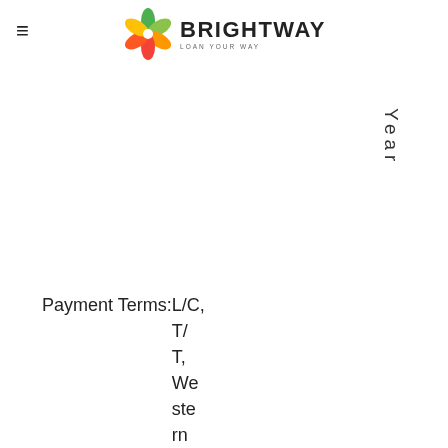[Figure (logo): Brightway logo with colorful pinwheel/flower icon and text 'BRIGHTWAY' with tagline 'LOAN YOUR WAY']
Year
Payment Terms:L/C, T/T, Western Union, Mone